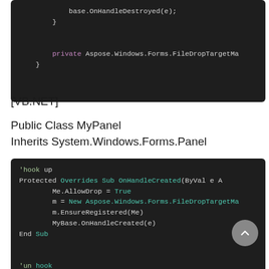[Figure (screenshot): Dark-themed code block (top portion) showing C# code with 'base.OnHandleDestroyed(e);', closing braces, and 'private Aspose.Windows.Forms.FileDropTargetMa...' with a closing brace.]
[VB.NET]
Public Class MyPanel
Inherits System.Windows.Forms.Panel
[Figure (screenshot): Dark-themed code block showing VB.NET code: 'hook up, Protected Overrides Sub OnHandleCreated(ByVal e A..., Me.AllowDrop = True, m = New Aspose.Windows.Forms.FileDropTargetMa..., m.EnsureRegistered(Me), MyBase.OnHandleCreated(e), End Sub, 'un hook, Protected Overrides Sub OnHandleDestroyed(ByVal...']